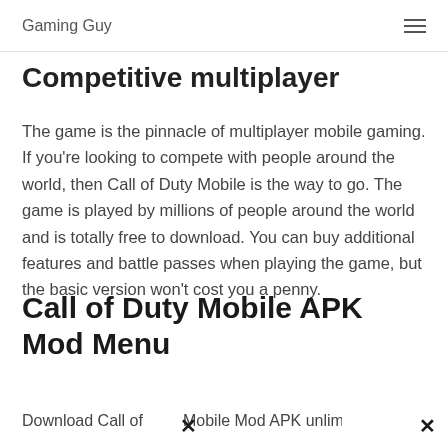Gaming Guy
Competitive multiplayer
The game is the pinnacle of multiplayer mobile gaming. If you're looking to compete with people around the world, then Call of Duty Mobile is the way to go. The game is played by millions of people around the world and is totally free to download. You can buy additional features and battle passes when playing the game, but the basic version won't cost you a penny.
Call of Duty Mobile APK Mod Menu
Download Call of [x] Mobile Mod APK unlimited